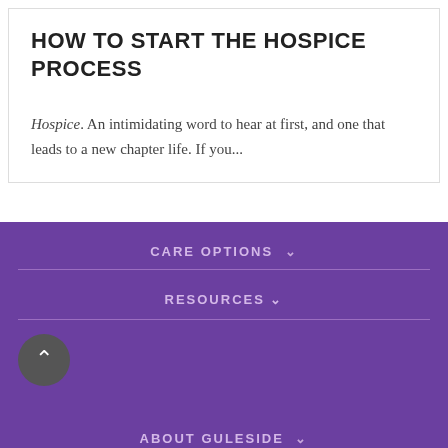HOW TO START THE HOSPICE PROCESS
Hospice. An intimidating word to hear at first, and one that leads to a new chapter life. If you...
CARE OPTIONS
RESOURCES
ABOUT GULESIDE